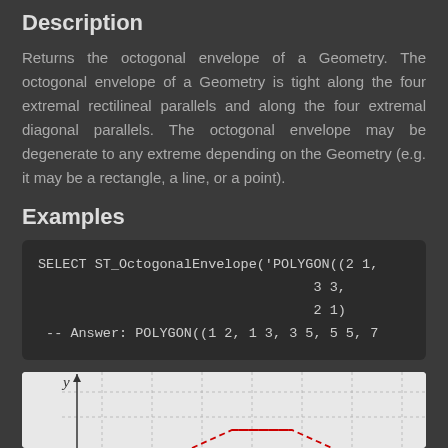Description
Returns the octogonal envelope of a Geometry. The octogonal envelope of a Geometry is tight along the four extremal rectilineal parallels and along the four extremal diagonal parallels. The octogonal envelope may be degenerate to any extreme depending on the Geometry (e.g. it may be a rectangle, a line, or a point).
Examples
SELECT ST_OctogonalEnvelope('POLYGON((2 1,
                                    3 3,
                                    2 1)
-- Answer: POLYGON((1 2, 1 3, 3 5, 5 5, 7
[Figure (other): Coordinate graph showing y-axis with a red dashed polygon shape partially visible]